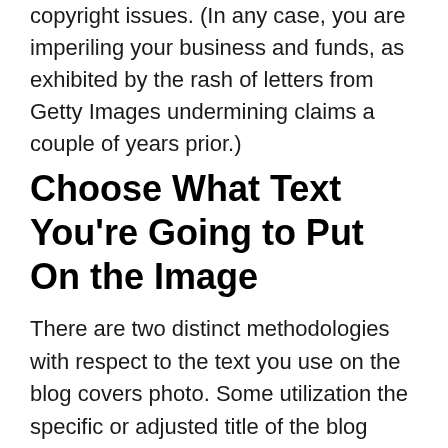copyright issues. (In any case, you are imperiling your business and funds, as exhibited by the rash of letters from Getty Images undermining claims a couple of years prior.)
Choose What Text You're Going to Put On the Image
There are two distinct methodologies with respect to the text you use on the blog covers photo. Some utilization the specific or adjusted title of the blog entry, similar to Social Media Examiner: Some utilization supporting text (as in the Copyblogger picture above). You can